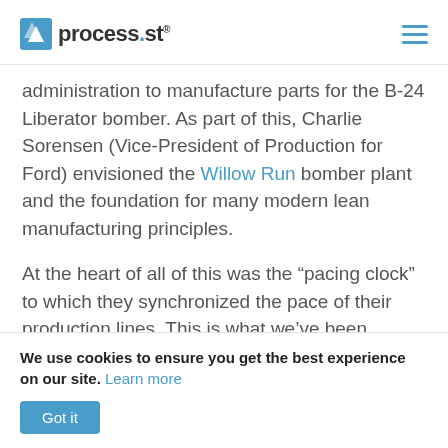process.st
administration to manufacture parts for the B-24 Liberator bomber. As part of this, Charlie Sorensen (Vice-President of Production for Ford) envisioned the Willow Run bomber plant and the foundation for many modern lean manufacturing principles.
At the heart of all of this was the “pacing clock” to which they synchronized the pace of their production lines. This is what we’ve been calling “takt time” and it allowed Willow Run to produce
We use cookies to ensure you get the best experience on our site. Learn more
Got it